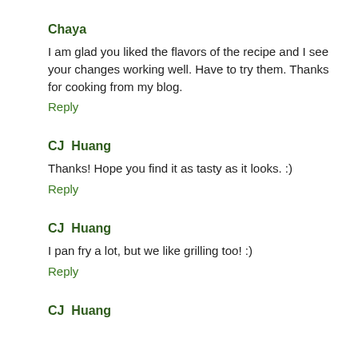Chaya
I am glad you liked the flavors of the recipe and I see your changes working well. Have to try them. Thanks for cooking from my blog.
Reply
CJ  Huang
Thanks! Hope you find it as tasty as it looks. :)
Reply
CJ  Huang
I pan fry a lot, but we like grilling too! :)
Reply
CJ  Huang